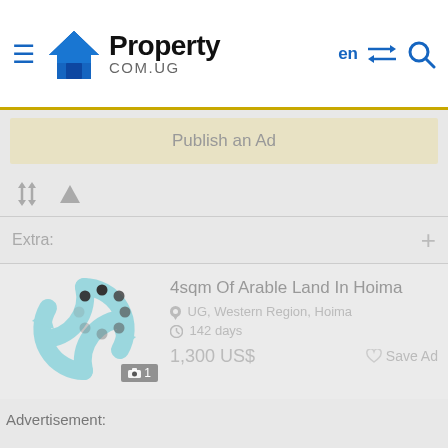Property COM.UG
Publish an Ad
[Figure (screenshot): Sort and filter icons (up-down arrows and triangle/filter icon)]
Extra:
[Figure (photo): Property listing thumbnail with loading spinner overlay. Shows a light blue recycling/circular-arrows logo watermark. Photo count badge showing camera icon and '1'.]
4sqm Of Arable Land In Hoima
UG, Western Region, Hoima
142 days
1,300 US$
Save Ad
Advertisement: